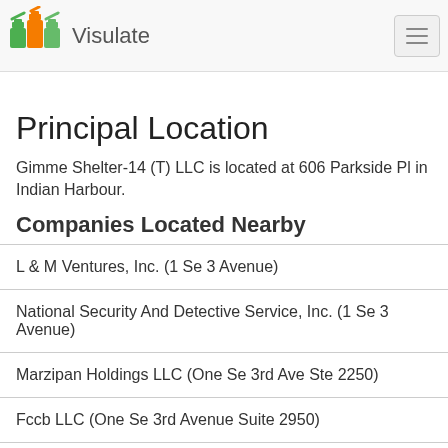Visulate
Principal Location
Gimme Shelter-14 (T) LLC is located at 606 Parkside Pl in Indian Harbour.
Companies Located Nearby
L & M Ventures, Inc. (1 Se 3 Avenue)
National Security And Detective Service, Inc. (1 Se 3 Avenue)
Marzipan Holdings LLC (One Se 3rd Ave Ste 2250)
Fccb LLC (One Se 3rd Avenue Suite 2950)
Michael B. Chesal, Esq., P.A. (1 Se 3rd Ave)